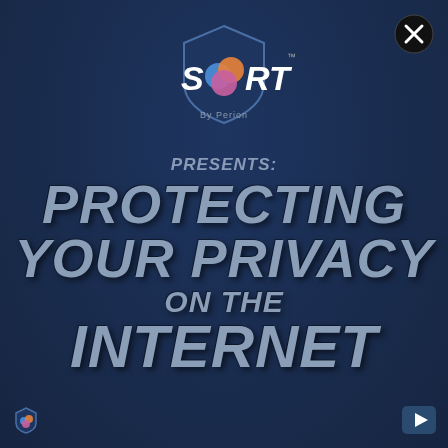[Figure (logo): SORT by Perion logo — shield shape with colorful circles (blue, orange, pink) inside the letter O, white text 'SORT' with TM mark, 'By Perion' below]
PRESENTS: PROTECTING YOUR PRIVACY ON THE INTERNET
[Figure (logo): Close button — black circle with white X in top right]
[Figure (logo): SORT shield icon small — bottom left corner]
[Figure (logo): Play/next button icon — bottom right corner]